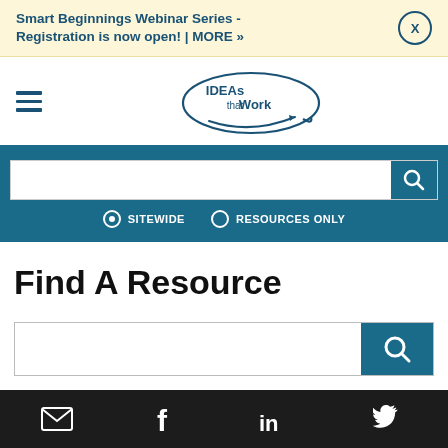Smart Beginnings Webinar Series - Registration is now open! | MORE »
[Figure (logo): IDEAs that Work logo — oval speech bubble with text 'IDEAs that Work' and an arrow]
[Figure (screenshot): Search bar with teal search button, radio buttons for SITEWIDE and RESOURCES ONLY]
Find A Resource
[Figure (screenshot): Secondary search input bar with teal search button]
Email, Facebook, LinkedIn, Twitter social media icons